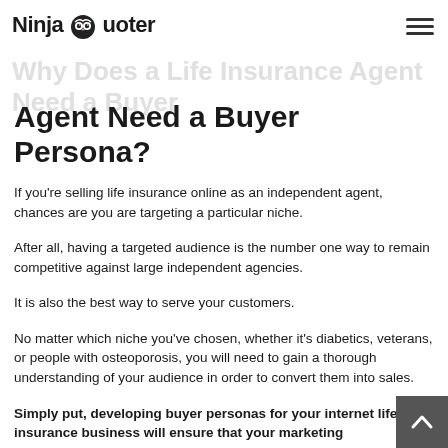Ninja Quoter
Agent Need a Buyer Persona?
If you're selling life insurance online as an independent agent, chances are you are targeting a particular niche.
After all, having a targeted audience is the number one way to remain competitive against large independent agencies.
It is also the best way to serve your customers.
No matter which niche you've chosen, whether it's diabetics, veterans, or people with osteoporosis, you will need to gain a thorough understanding of your audience in order to convert them into sales.
Simply put, developing buyer personas for your internet life insurance business will ensure that your marketing